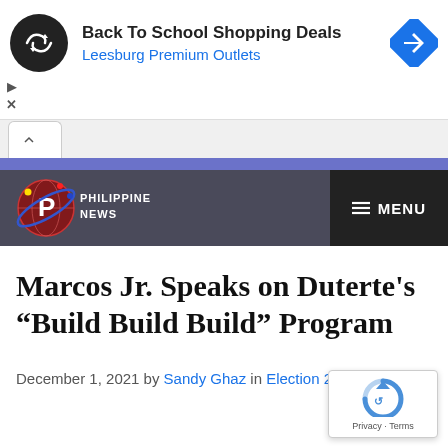[Figure (screenshot): Advertisement banner: black circular logo with infinity-like arrow symbol, text 'Back To School Shopping Deals' in bold black, 'Leesburg Premium Outlets' in blue, and a blue diamond-shaped navigation arrow icon on the right.]
[Figure (logo): Philippine News website logo with globe and Philippine map graphic, text 'PHILIPPINE NEWS' on dark gray navigation bar with black MENU button on the right.]
Marcos Jr. Speaks on Duterte’s “Build Build Build” Program
December 1, 2021 by Sandy Ghaz in Election 2022